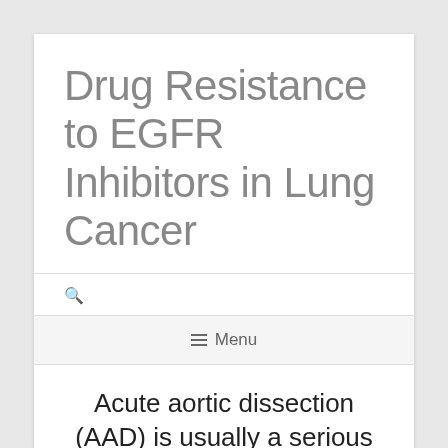Drug Resistance to EGFR Inhibitors in Lung Cancer
☰ Menu
Acute aortic dissection (AAD) is usually a serious vascular